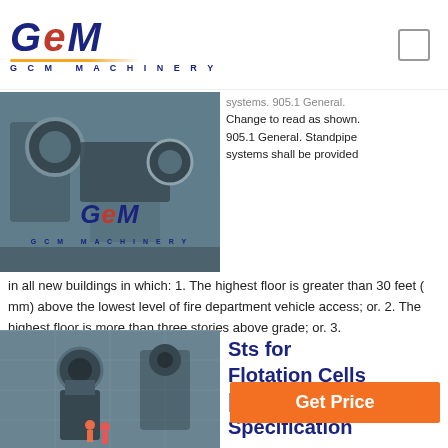[Figure (logo): GCM Machinery logo with blue italic GCM text and golden underline bar]
[Figure (photo): Industrial mining machinery equipment photo with GCM brand overlay]
systems. 905.1 General. Change to read as shown. 905.1 General. Standpipe systems shall be provided in all new buildings in which: 1. The highest floor is greater than 30 feet (mm) above the lowest level of fire department vehicle access; or. 2. The highest floor is more than three stories above grade; or. 3.
Get Price
[Figure (photo): Industrial flotation cell / cone crusher equipment in factory setting]
Sts for Flotation Cells | Procurement | Specification